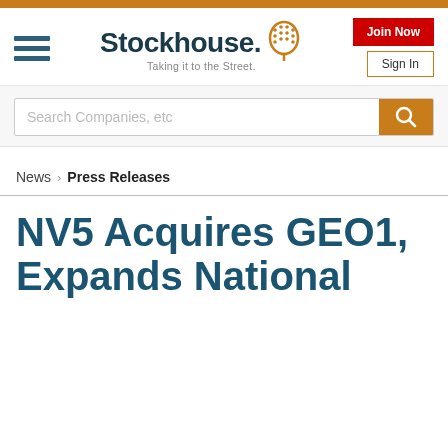Stockhouse - Taking it to the Street.
Search Companies, etc
News > Press Releases
NV5 Acquires GEO1, Expands National